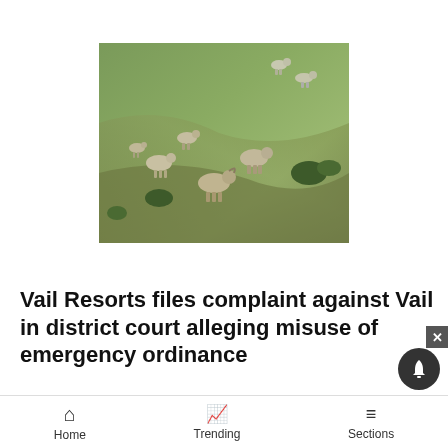[Figure (photo): Aerial or hillside view of a herd of bighorn sheep (rams and ewes) grazing on a grassy, brushy slope.]
Vail Resorts files complaint against Vail in district court alleging misuse of emergency ordinance
Septe
[Figure (photo): ULTA Beauty advertisement banner showing makeup products and model eyes, with a SHOP NOW call-to-action.]
Home  Trending  Sections